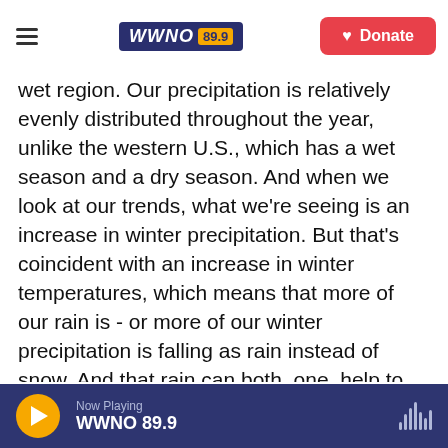NEW ORLEANS WWNO 89.9 PUBLIC RADIO | Donate
wet region. Our precipitation is relatively evenly distributed throughout the year, unlike the western U.S., which has a wet season and a dry season. And when we look at our trends, what we're seeing is an increase in winter precipitation. But that's coincident with an increase in winter temperatures, which means that more of our rain is - or more of our winter precipitation is falling as rain instead of snow. And that rain can both, one, help to contribute to melt of an existing snowpack. And it makes it that much harder for new snow to accumulate on the ground if that ground is now thawed and warm. So you have a nice, cold, icy
Now Playing WWNO 89.9